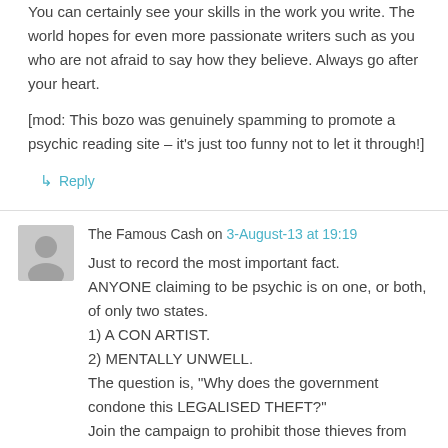You can certainly see your skills in the work you write. The world hopes for even more passionate writers such as you who are not afraid to say how they believe. Always go after your heart.
[mod: This bozo was genuinely spamming to promote a psychic reading site – it's just too funny not to let it through!]
↳ Reply
The Famous Cash on 3-August-13 at 19:19
Just to record the most important fact.
ANYONE claiming to be psychic is on one, or both, of only two states.
1) A CON ARTIST.
2) MENTALLY UNWELL.
The question is, "Why does the government condone this LEGALISED THEFT?"
Join the campaign to prohibit these thieves from advertising or...